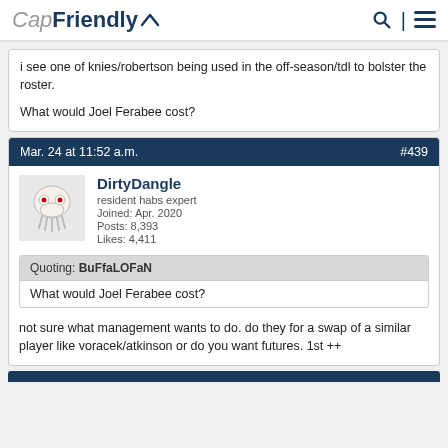CapFriendly
i see one of knies/robertson being used in the off-season/tdl to bolster the roster.

What would Joel Ferabee cost?
Mar. 24 at 11:52 a.m.  #439
DirtyDangle
resident habs expert
Joined: Apr. 2020
Posts: 8,393
Likes: 4,411
Quoting: BuFfaLOFaN
What would Joel Ferabee cost?
not sure what management wants to do. do they for a swap of a similar player like voracek/atkinson or do you want futures. 1st ++